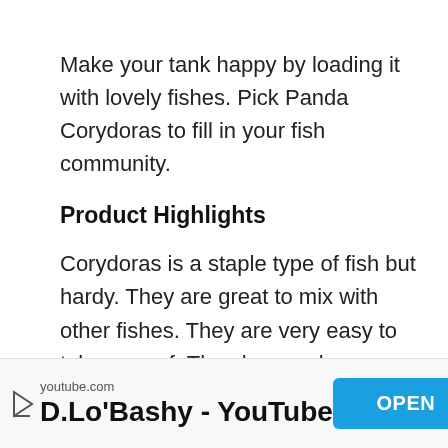[Figure (photo): Top portion of an image showing a blurred brownish background (partial fish tank or fish image cropped at top)]
Make your tank happy by loading it with lovely fishes. Pick Panda Corydoras to fill in your fish community.
Product Highlights
Corydoras is a staple type of fish but hardy. They are great to mix with other fishes. They are very easy to take care of. They have calm characteristics, peaceful, and not aggressive.
[Figure (other): Advertisement banner: youtube.com / D.Lo'Bashy - YouTube with OPEN button]